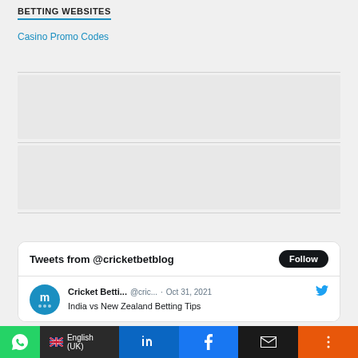BETTING WEBSITES
Casino Promo Codes
[Figure (screenshot): Twitter widget showing Tweets from @cricketbetblog with a Follow button, and a tweet by Cricket Betti... @cric... Oct 31, 2021 about India vs New Zealand Betting Tips]
WhatsApp | English (UK) | LinkedIn | Facebook | Email | More